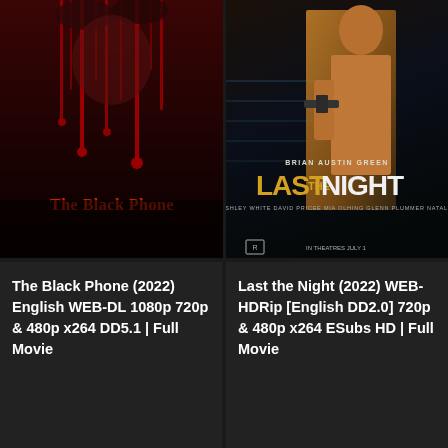[Figure (photo): Movie poster for The Black Phone (2022) — dark background with hands and red dripping effect, title in red/orange text]
[Figure (photo): Movie poster for Last the Night (2022) — Brian Austin Green holding a weapon, dramatic action pose, bold yellow/white title text]
The Black Phone (2022) English WEB-DL 1080p 720p & 480p x264 DD5.1 | Full Movie
Last the Night (2022) WEB-HDRip [English DD2.0] 720p & 480p x264 ESubs HD | Full Movie